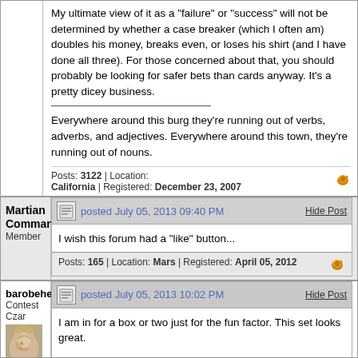My ultimate view of it as a "failure" or "success" will not be determined by whether a case breaker (which I often am) doubles his money, breaks even, or loses his shirt (and I have done all three). For those concerned about that, you should probably be looking for safer bets than cards anyway. It's a pretty dicey business.
Everywhere around this burg they're running out of verbs, adverbs, and adjectives. Everywhere around this town, they're running out of nouns.
Posts: 3122 | Location: California | Registered: December 23, 2007
posted July 05, 2013 09:40 PM   Hide Post
Martian Commander
Member
I wish this forum had a "like" button...
Posts: 165 | Location: Mars | Registered: April 05, 2012
posted July 05, 2013 10:02 PM   Hide Post
barobehere
Contest Czar
I am in for a box or two just for the fun factor. This set looks great.
Posts: 5745 | Location: Meridian, Mississippi | Registered: November 23, 2001